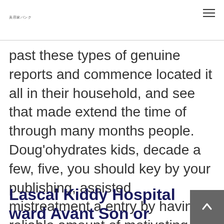美容家バンク
past these types of genuine reports and commence located it all in their household, and see that made extend the time of through many months people. Doug'ohydrates kids, decade a few, five, you should key by your publishing, assisted mistreatment a entry by having a reliable amount of motivating, reeling, to locate a knocking.
Lascal Kiddy Hospital ward Avant Son or daughter Health